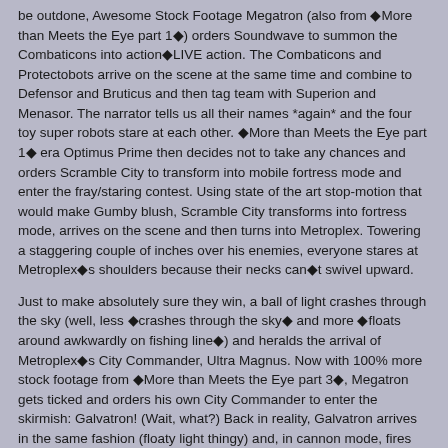be outdone, Awesome Stock Footage Megatron (also from ❖More than Meets the Eye part 1❖) orders Soundwave to summon the Combaticons into action❖LIVE action. The Combaticons and Protectobots arrive on the scene at the same time and combine to Defensor and Bruticus and then tag team with Superion and Menasor. The narrator tells us all their names *again* and the four toy super robots stare at each other. ❖More than Meets the Eye part 1❖ era Optimus Prime then decides not to take any chances and orders Scramble City to transform into mobile fortress mode and enter the fray/staring contest. Using state of the art stop-motion that would make Gumby blush, Scramble City transforms into fortress mode, arrives on the scene and then turns into Metroplex. Towering a staggering couple of inches over his enemies, everyone stares at Metroplex❖s shoulders because their necks can❖t swivel upward.
Just to make absolutely sure they win, a ball of light crashes through the sky (well, less ❖crashes through the sky❖ and more ❖floats around awkwardly on fishing line❖) and heralds the arrival of Metroplex❖s City Commander, Ultra Magnus. Now with 100% more stock footage from ❖More than Meets the Eye part 3❖, Megatron gets ticked and orders his own City Commander to enter the skirmish: Galvatron! (Wait, what?) Back in reality, Galvatron arrives in the same fashion (floaty light thingy) and, in cannon mode, fires his crazy wriggly laserbeams at Ultra Magnus who is in vehicle mode. Magnus and Galvatron both transform and go at it. The battle finally kicks in full throttle as both factions clash in a massive all-out brawl. Well, I use the term ❖massive all-out brawl❖ loosely, as nobody moves yet everything around them completely explodes (abandoned minefield?). Then, without warning, the earth quakes and the battlefield cracks in two as the menacing Decepticon City, Trypticon, emerges from the ground with Real Motorized Walking Action!